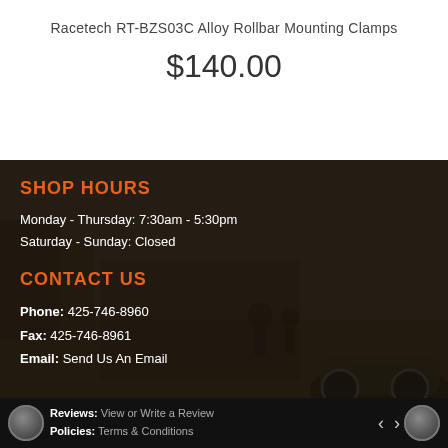Racetech RT-BZS03C Alloy Rollbar Mounting Clamps
$140.00
SHOP HOURS
Monday - Thursday: 7:30am - 5:30pm
Saturday - Sunday: Closed
CONTACT US
Phone: 425-746-8960
Fax: 425-746-8961
Email: Send Us An Email
Reviews: View or Write a Review
Policies: Terms & Conditions